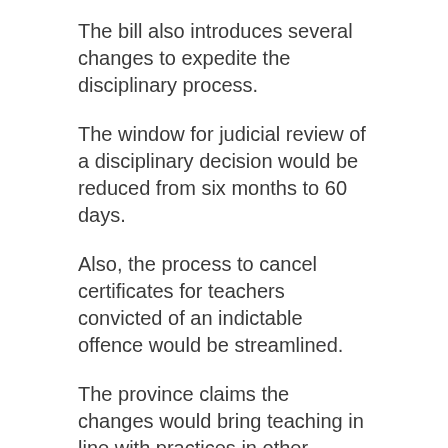The bill also introduces several changes to expedite the disciplinary process.
The window for judicial review of a disciplinary decision would be reduced from six months to 60 days.
Also, the process to cancel certificates for teachers convicted of an indictable offence would be streamlined.
The province claims the changes would bring teaching in line with practices in other provinces and professions.
The bill also overhauls the Alberta Teachers' Assocation's disciplinary committee structure.
The current structure devotes three committees